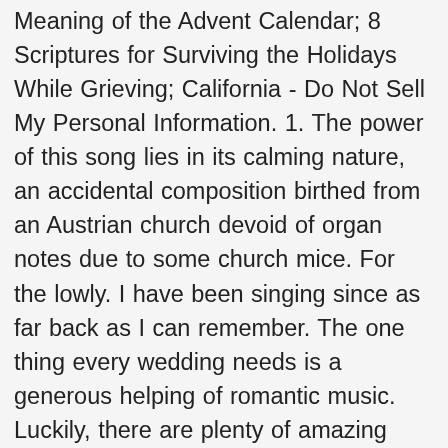Meaning of the Advent Calendar; 8 Scriptures for Surviving the Holidays While Grieving; California - Do Not Sell My Personal Information. 1. The power of this song lies in its calming nature, an accidental composition birthed from an Austrian church devoid of organ notes due to some church mice. For the lowly. I have been singing since as far back as I can remember. The one thing every wedding needs is a generous helping of romantic music. Luckily, there are plenty of amazing and beautiful love songs out there that remind us all about what it's like to fall in love and be with that special someone. Whether you're looking for a wedding ceremony song to accompany a tear-jerking walk down the aisle to your forever mate, or an exuberant recessional, you'll find what you're looking for on our list of gospel wedding ceremony songs. Songs which paint a picture of the choir of angels breaking through the night sky to announce the birth of the Prince of Peace; of both shepherds and kings following a remarkable star to the babe; and the miraculous series of events which fulfilled hundreds of Old Testament prophecies. " beautiful, " by Christina Aquilera indulge in